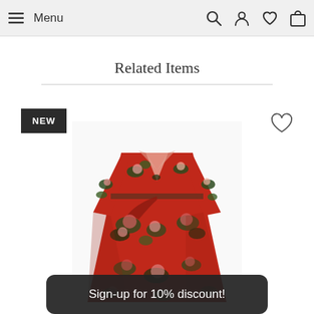Menu
Related Items
[Figure (photo): A red floral wrap dress displayed on a white background, featuring large flower and leaf print with 3/4 sleeves and a tie waist. A dark square 'NEW' badge appears at top left, and a heart/wishlist icon at top right.]
Sign-up for 10% discount!